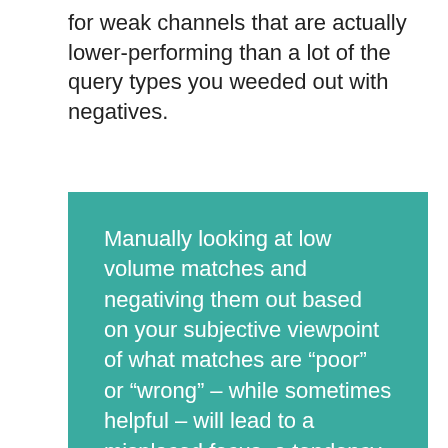for weak channels that are actually lower-performing than a lot of the query types you weeded out with negatives.
Manually looking at low volume matches and negativing them out based on your subjective viewpoint of what matches are “poor” or “wrong” – while sometimes helpful – will lead to a misplaced focus, a tendency to become judgmental rather than